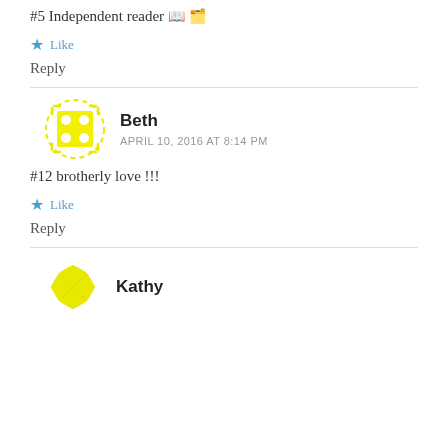#5 Independent reader 📖🗂️
Like
Reply
Beth
APRIL 10, 2016 AT 8:14 PM
#12 brotherly love !!!
Like
Reply
Kathy